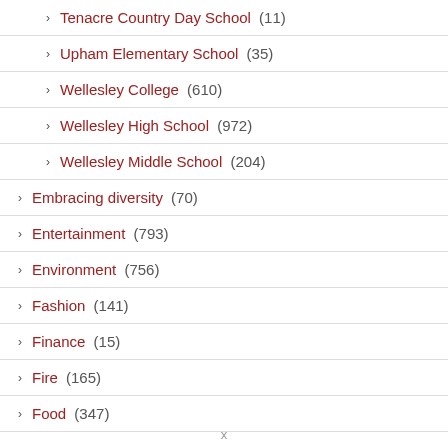Tenacre Country Day School (11)
Upham Elementary School (35)
Wellesley College (610)
Wellesley High School (972)
Wellesley Middle School (204)
Embracing diversity (70)
Entertainment (793)
Environment (756)
Fashion (141)
Finance (15)
Fire (165)
Food (347)
x